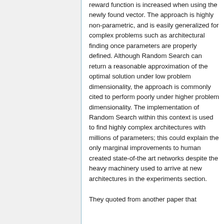reward function is increased when using the newly found vector. The approach is highly non-parametric, and is easily generalized for complex problems such as architectural finding once parameters are properly defined. Although Random Search can return a reasonable approximation of the optimal solution under low problem dimensionality, the approach is commonly cited to perform poorly under higher problem dimensionality. The implementation of Random Search within this context is used to find highly complex architectures with millions of parameters; this could explain the only marginal improvements to human created state-of-the art networks despite the heavy machinery used to arrive at new architectures in the experiments section.
They quoted from another paper that